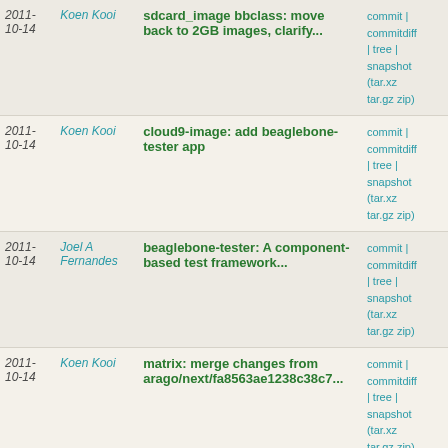| Date | Author | Commit | Links |
| --- | --- | --- | --- |
| 2011-10-14 | Koen Kooi | sdcard_image bbclass: move back to 2GB images, clarify... | commit | commitdiff | tree | snapshot (tar.xz tar.gz zip) |
| 2011-10-14 | Koen Kooi | cloud9-image: add beaglebone-tester app | commit | commitdiff | tree | snapshot (tar.xz tar.gz zip) |
| 2011-10-14 | Joel A Fernandes | beaglebone-tester: A component-based test framework... | commit | commitdiff | tree | snapshot (tar.xz tar.gz zip) |
| 2011-10-14 | Koen Kooi | matrix: merge changes from arago/next/fa8563ae1238c38c7... | commit | commitdiff | tree | snapshot (tar.xz tar.gz zip) |
| 2011-10-14 | Joel A Fernandes | ti-hw-bringup-image: Add kernel-modules package | commit | commitdiff | tree | snapshot (tar.xz tar.gz zip) |
| 2011-10-14 | Koen Kooi | ti-hw-bringup-image: switch to task-ti-test | commit | commitdiff | tree | snapshot (tar.xz tar.gz zip) |